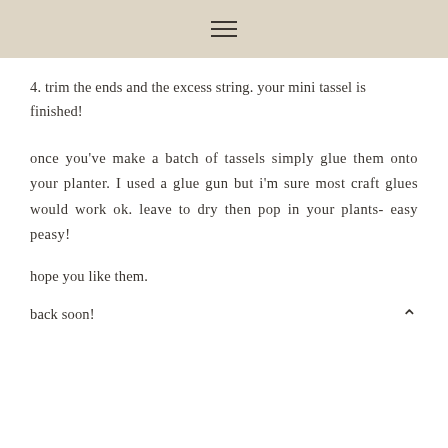≡
4. trim the ends and the excess string. your mini tassel is finished!
once you've make a batch of tassels simply glue them onto your planter. I used a glue gun but i'm sure most craft glues would work ok. leave to dry then pop in your plants- easy peasy!
hope you like them.
back soon!